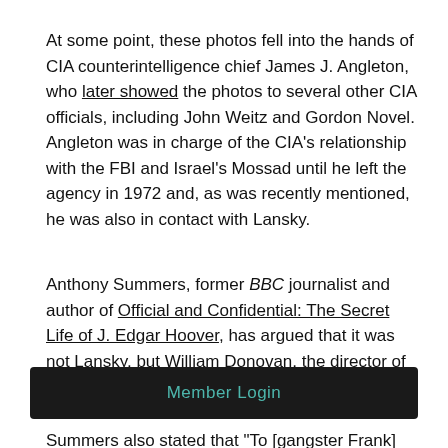At some point, these photos fell into the hands of CIA counterintelligence chief James J. Angleton, who later showed the photos to several other CIA officials, including John Weitz and Gordon Novel. Angleton was in charge of the CIA's relationship with the FBI and Israel's Mossad until he left the agency in 1972 and, as was recently mentioned, he was also in contact with Lansky.
Anthony Summers, former BBC journalist and author of Official and Confidential: The Secret Life of J. Edgar Hoover, has argued that it was not Lansky, but William Donovan, the director of the OSS, who obtained the original photos of Hoover and later
Member Login
Summers also stated that "To [gangster Frank]